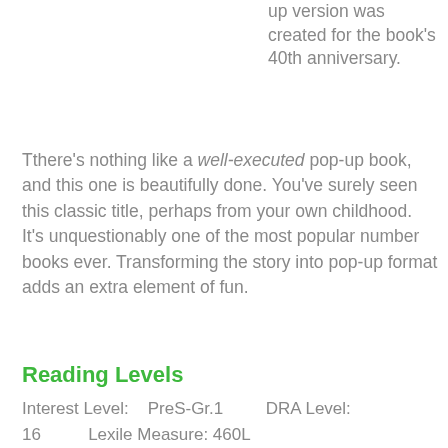up version was created for the book's 40th anniversary.
Tthere's nothing like a well-executed pop-up book, and this one is beautifully done. You've surely seen this classic title, perhaps from your own childhood. It's unquestionably one of the most popular number books ever. Transforming the story into pop-up format adds an extra element of fun.
Reading Levels
Interest Level:    PreS-Gr.1         DRA Level: 16            Lexile Measure: 460L